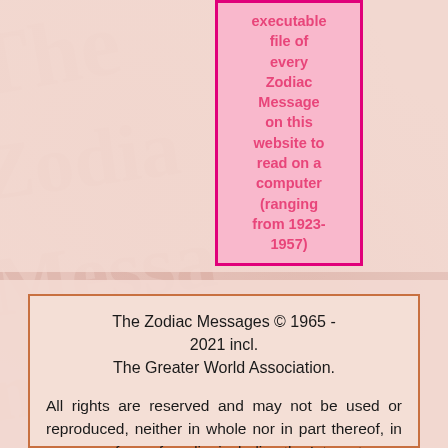executable file of every Zodiac Message on this website to read on a computer (ranging from 1923-1957)
The Zodiac Messages © 1965 - 2021 incl. The Greater World Association.
All rights are reserved and may not be used or reproduced, neither in whole nor in part thereof, in or on any form of media, including the Internet.